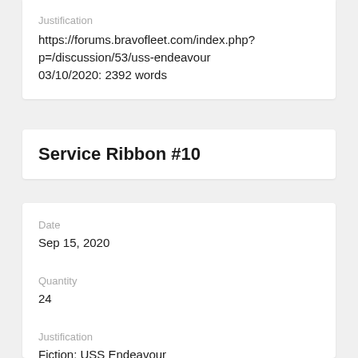Justification
https://forums.bravofleet.com/index.php?p=/discussion/53/uss-endeavour
03/10/2020: 2392 words
Service Ribbon #10
Date
Sep 15, 2020
Quantity
24
Justification
Fiction: USS Endeavour